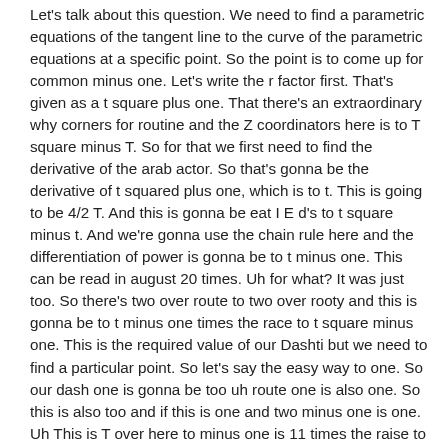Let's talk about this question. We need to find a parametric equations of the tangent line to the curve of the parametric equations at a specific point. So the point is to come up for common minus one. Let's write the r factor first. That's given as a t square plus one. That there's an extraordinary why corners for routine and the Z coordinators here is to T square minus T. So for that we first need to find the derivative of the arab actor. So that's gonna be the derivative of t squared plus one, which is to t. This is going to be 4/2 T. And this is gonna be eat I E d's to t square minus t. And we're gonna use the chain rule here and the differentiation of power is gonna be to t minus one. This can be read in august 20 times. Uh for what? It was just too. So there's two over route to two over rooty and this is gonna be to t minus one times the race to t square minus one. This is the required value of our Dashti but we need to find a particular point. So let's say the easy way to one. So our dash one is gonna be too uh route one is also one. So this is also too and if this is one and two minus one is one. Uh This is T over here to minus one is 11 times the raise to one square is 11 minus one is zero. So this is going to be equal to two comma two comma one. So the paramount trick coordinate of the tangent line is uh the point at which we need to find which is already given to us as two comma for comma one has to come up for common one